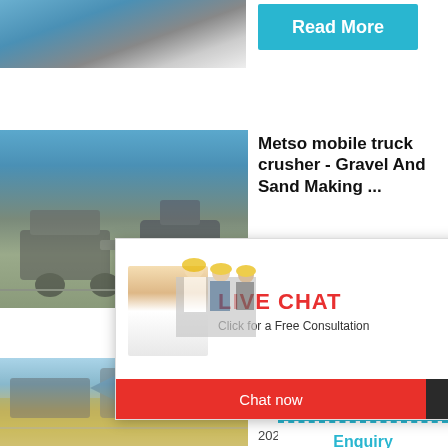[Figure (photo): Industrial machinery/crusher site photo strip at top left]
Read More
[Figure (photo): Metso mobile truck crusher at a quarry/gravel site]
Metso mobile truck crusher - Gravel And Sand Making ...
[Figure (other): Live chat overlay with smiling woman in hardhat and engineers in background, red LIVE CHAT text, Chat now and Chat later buttons]
[Figure (photo): Right sidebar with cone crusher machine image, hour online text, Click me to chat button, Enquiry label, limingjlmofen username]
[Figure (photo): Pickup truck crusher conveyor site photo]
Pickup Crushe Convey
2021-11